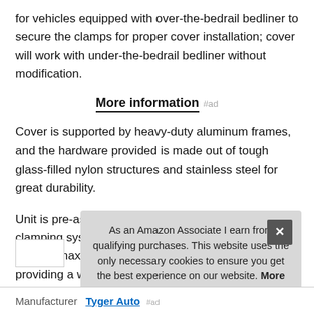for vehicles equipped with over-the-bedrail bedliner to secure the clamps for proper cover installation; cover will work with under-the-bedrail bedliner without modification.
More information #ad
Cover is supported by heavy-duty aluminum frames, and the hardware provided is made out of tough glass-filled nylon structures and stainless steel for great durability.
Unit is pre-assembled with unique quick-release clamping system for easy no-drilling installation while offering maximum security against theft; and also providing a weather tight seal to p
As an Amazon Associate I earn from qualifying purchases. This website uses the only necessary cookies to ensure you get the best experience on our website. More information
Manufacturer  Tyger Auto #ad